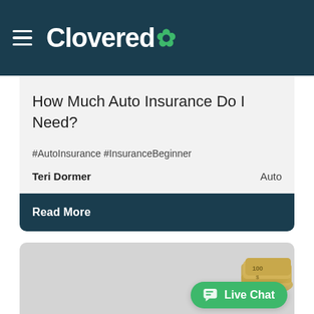Clovered
How Much Auto Insurance Do I Need?
#AutoInsurance #InsuranceBeginner
Teri Dormer   Auto
Read More
[Figure (photo): Image card with money/cash photo in lower right, gray background]